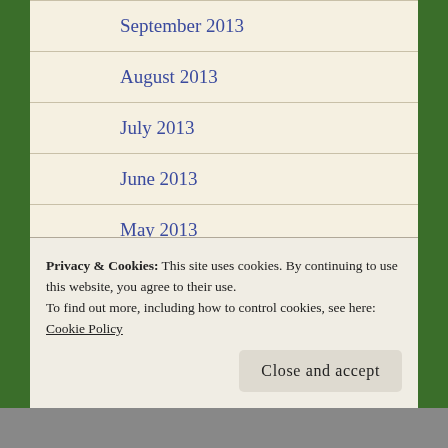September 2013
August 2013
July 2013
June 2013
May 2013
April 2013
January 2013
December 2012
Privacy & Cookies: This site uses cookies. By continuing to use this website, you agree to their use.
To find out more, including how to control cookies, see here: Cookie Policy
Close and accept